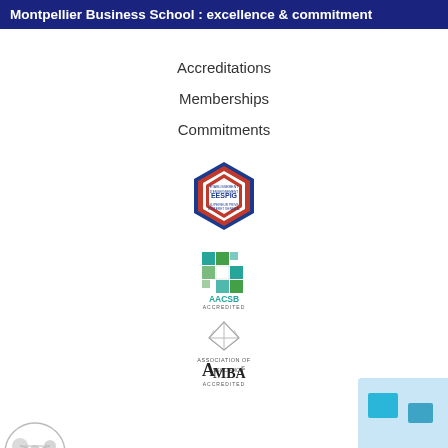Montpellier Business School : excellence & commitment
Accreditations
Memberships
Commitments
[Figure (logo): EESPIG hexagonal badge logo in red, white and blue]
[Figure (logo): AACSB Accredited logo with teal/green mosaic square icon]
[Figure (logo): Association of MBAs Accredited logo with diamond/gem icon]
[Figure (logo): Partial logo at bottom left (circular network/people icon)]
[Figure (logo): Partial blue/teal accreditation badge at bottom right]